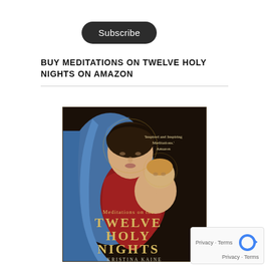Subscribe
BUY MEDITATIONS ON TWELVE HOLY NIGHTS ON AMAZON
[Figure (photo): Book cover of 'Meditations on the Twelve Holy Nights' by Kristina Kaine, featuring a classical painting of Madonna and Child. The cover shows a woman in red dress and blue veil holding a baby. Text on cover reads: 'Inspired and Inspiring Meditations.' Amazon. Meditations on the TWELVE HOLY NIGHTS KRISTINA KAINE]
Privacy · Terms